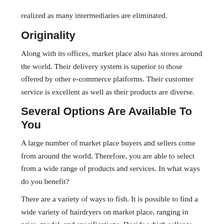realized as many intermediaries are eliminated.
Originality
Along with its offices, market place also has stores around the world. Their delivery system is superior to those offered by other e-commerce platforms. Their customer service is excellent as well as their products are diverse.
Several Options Are Available To You
A large number of market place buyers and sellers come from around the world. Therefore, you are able to select from a wide range of products and services. In what ways do you benefit?
There are a variety of ways to fish. It is possible to find a wide variety of hairdryers on market place, ranging in price, model, and specifications. Decide which seller to purchase from.